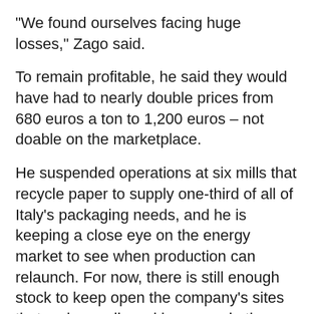“We found ourselves facing huge losses,” Zago said.
To remain profitable, he said they would have had to nearly double prices from 680 euros a ton to 1,200 euros – not doable on the marketplace.
He suspended operations at six mills that recycle paper to supply one-third of all of Italy’s packaging needs, and he is keeping a close eye on the energy market to see when production can relaunch. For now, there is still enough stock to keep open the company's sites that make cardboard boxes and other packaging, supplying industries from food to pharmaceuticals to furniture. But that could run out soon.
Likewise, Acciaierie Venete shut three of its steel mills for a few days last week as prices spiked to 10 times above normal. The makers of high-quality steel for automotive and agricultural machinery had enough stock to work on finished product, waiting for prices to dip so they could